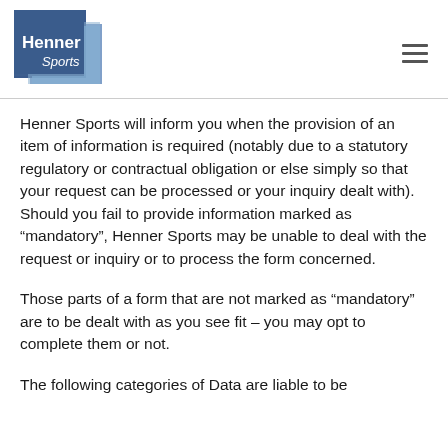Henner Sports
Henner Sports will inform you when the provision of an item of information is required (notably due to a statutory regulatory or contractual obligation or else simply so that your request can be processed or your inquiry dealt with). Should you fail to provide information marked as “mandatory”, Henner Sports may be unable to deal with the request or inquiry or to process the form concerned.
Those parts of a form that are not marked as “mandatory” are to be dealt with as you see fit – you may opt to complete them or not.
The following categories of Data are liable to be